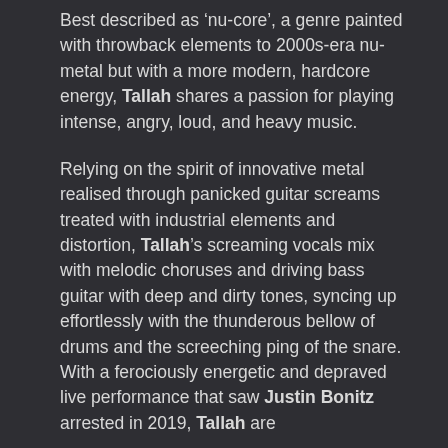Best described as 'nu-core', a genre painted with throwback elements to 2000s-era nu-metal but with a more modern, hardcore energy, Tallah shares a passion for playing intense, angry, loud, and heavy music.
Relying on the spirit of innovative metal realised through panicked guitar screams treated with industrial elements and distortion, Tallah's screaming vocals mix with melodic choruses and driving bass guitar with deep and dirty tones, syncing up effortlessly with the thunderous bellow of drums and the screeching ping of the snare. With a ferociously energetic and depraved live performance that saw Justin Bonitz arrested in 2019, Tallah are